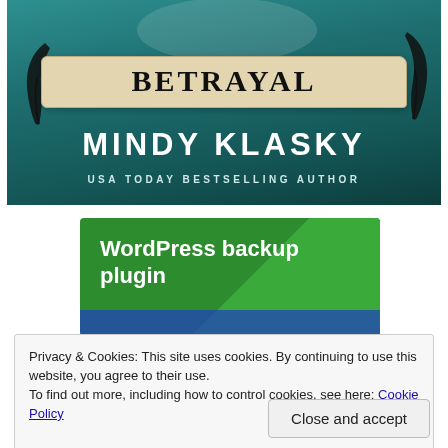[Figure (illustration): Book cover for 'Betrayal' by Mindy Klasky, USA Today Bestselling Author. Teal/teal colored background with feathers. Title 'BETRAYAL' on a parchment banner, author name in large white letters, subtitle in smaller letters.]
[Figure (infographic): Green banner advertisement for 'WordPress backup plugin']
Privacy & Cookies: This site uses cookies. By continuing to use this website, you agree to their use.
To find out more, including how to control cookies, see here: Cookie Policy
Close and accept